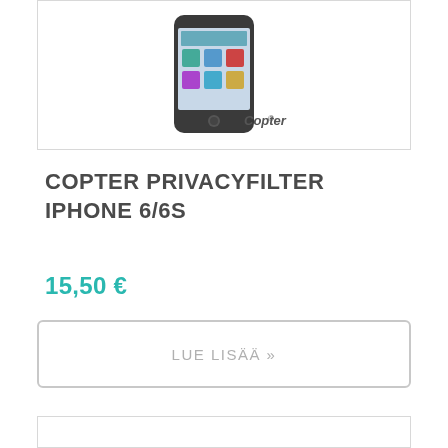[Figure (photo): Copter PrivacyFilter iPhone 6/6S product image showing a smartphone with Copter branding]
COPTER PRIVACYFILTER IPHONE 6/6S
15,50 €
LUE LISÄÄ »
[Figure (photo): Second product image box, partially visible at bottom of page]